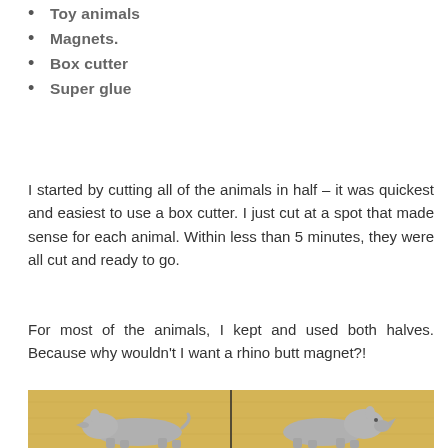Toy animals
Magnets.
Box cutter
Super glue
I started by cutting all of the animals in half – it was quickest and easiest to use a box cutter. I just cut at a spot that made sense for each animal. Within less than 5 minutes, they were all cut and ready to go.
For most of the animals, I kept and used both halves. Because why wouldn't I want a rhino butt magnet?!
[Figure (photo): Two gray plastic rhino toy animal halves lying on a yellow wooden surface, showing both front and back halves of the cut animal]